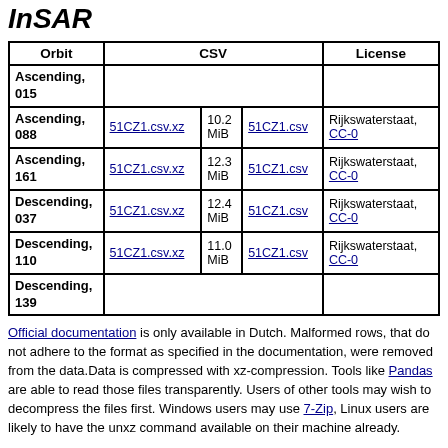InSAR
| Orbit | CSV | License |
| --- | --- | --- |
| Ascending, 015 |  |  |
| Ascending, 088 | 51CZ1.csv.xz  10.2 MiB  51CZ1.csv | Rijkswaterstaat, CC-0 |
| Ascending, 161 | 51CZ1.csv.xz  12.3 MiB  51CZ1.csv | Rijkswaterstaat, CC-0 |
| Descending, 037 | 51CZ1.csv.xz  12.4 MiB  51CZ1.csv | Rijkswaterstaat, CC-0 |
| Descending, 110 | 51CZ1.csv.xz  11.0 MiB  51CZ1.csv | Rijkswaterstaat, CC-0 |
| Descending, 139 |  |  |
Official documentation is only available in Dutch. Malformed rows, that do not adhere to the format as specified in the documentation, were removed from the data.Data is compressed with xz-compression. Tools like Pandas are able to read those files transparently. Users of other tools may wish to decompress the files first. Windows users may use 7-Zip, Linux users are likely to have the unxz command available on their machine already.